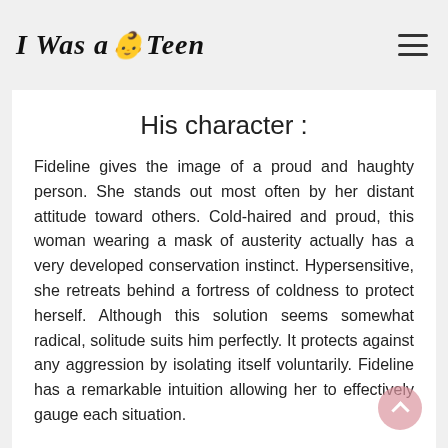I Was a Teen
His character :
Fideline gives the image of a proud and haughty person. She stands out most often by her distant attitude toward others. Cold-haired and proud, this woman wearing a mask of austerity actually has a very developed conservation instinct. Hypersensitive, she retreats behind a fortress of coldness to protect herself. Although this solution seems somewhat radical, solitude suits him perfectly. It protects against any aggression by isolating itself voluntarily. Fideline has a remarkable intuition allowing her to effectively gauge each situation.